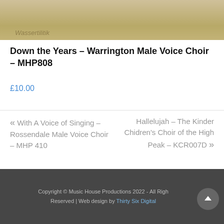[Figure (photo): Partial album cover image for Down the Years by Warrington Male Voice Choir, showing muted beige/tan tones]
Down the Years – Warrington Male Voice Choir – MHP808
£10.00
« With A Voice of Singing – Rossendale Male Voice Choir – MHP 410
Hallelujah – The Kinder Chidren's Choir of the High Peak – KCR007D »
Copyright © Music House Productions 2022 - All Rights Reserved | Web design by Thirty Six Digital